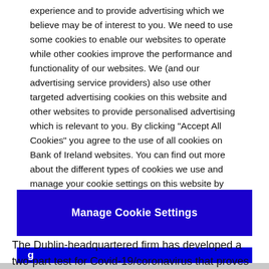experience and to provide advertising which we believe may be of interest to you. We need to use some cookies to enable our websites to operate while other cookies improve the performance and functionality of our websites. We (and our advertising service providers) also use other targeted advertising cookies on this website and other websites to provide personalised advertising which is relevant to you. By clicking "Accept All Cookies" you agree to the use of all cookies on Bank of Ireland websites. You can find out more about the different types of cookies we use and manage your cookie settings on this website by clicking "Manage Cookie Settings". To find out more about how we use cookies please read our cookies policy.
Manage Cookie Settings
g...
The Dublin-headquartered firm has developed a two-part test for Covid-19/coronavirus that proves an